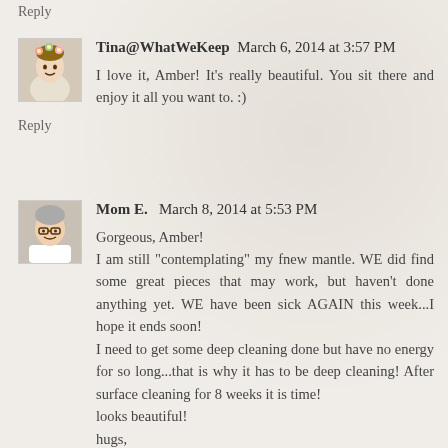Reply
Tina@WhatWeKeep  March 6, 2014 at 3:57 PM
I love it, Amber! It's really beautiful. You sit there and enjoy it all you want to. :)
Reply
Mom E.  March 8, 2014 at 5:53 PM
Gorgeous, Amber!
I am still "contemplating" my fnew mantle. WE did find some great pieces that may work, but haven't done anything yet. WE have been sick AGAIN this week...I hope it ends soon!
I need to get some deep cleaning done but have no energy for so long...that is why it has to be deep cleaning! After surface cleaning for 8 weeks it is time!
looks beautiful!
hugs,
Betsy
Reply